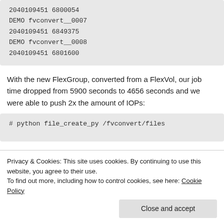[Figure (screenshot): Code block showing lines: 2040109451 6800054, DEMO fvconvert__0007, 2040109451 6849375, DEMO fvconvert__0008, 2040109451 6801600]
With the new FlexGroup, converted from a FlexVol, our job time dropped from 5900 seconds to 4656 seconds and we were able to push 2x the amount of IOPs:
[Figure (screenshot): Code block showing partial line: # python file_create_py /fvconvert/files]
Privacy & Cookies: This site uses cookies. By continuing to use this website, you agree to their use.
To find out more, including how to control cookies, see here: Cookie Policy
Close and accept